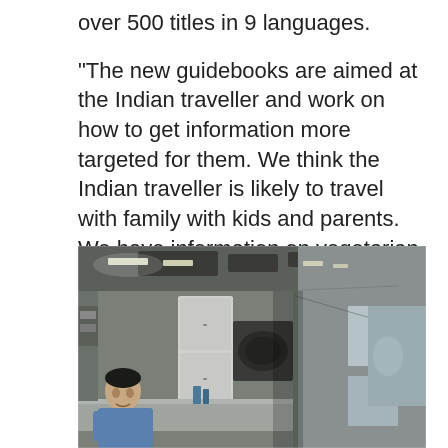over 500 titles in 9 languages.
"The new guidebooks are aimed at the Indian traveller and work on how to get information more targeted for them. We think the Indian traveller is likely to travel with family with kids and parents. We have information on vegetarian food, and other specifics like must see places and things to do," he says.
[Figure (photo): Interior of a train dining/kitchen car showing a corridor with stainless steel equipment, refrigerators, cooking equipment on the left side, and windows on the right with fluorescent lighting overhead. A man in a blue shirt is visible in the foreground left.]